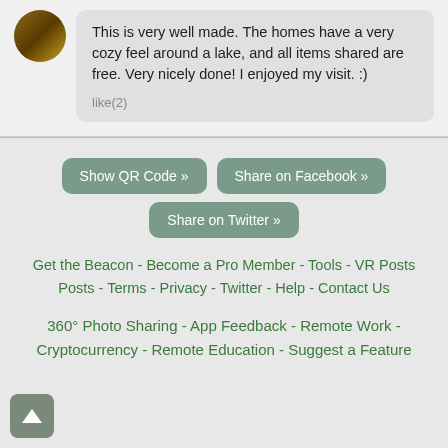This is very well made. The homes have a very cozy feel around a lake, and all items shared are free. Very nicely done! I enjoyed my visit. :)
like(2)
Show QR Code »
Share on Facebook »
Share on Twitter »
Get the Beacon - Become a Pro Member - Tools - VR Posts - Terms - Privacy - Twitter - Help - Contact Us
360° Photo Sharing - App Feedback - Remote Work - Cryptocurrency - Remote Education - Suggest a Feature